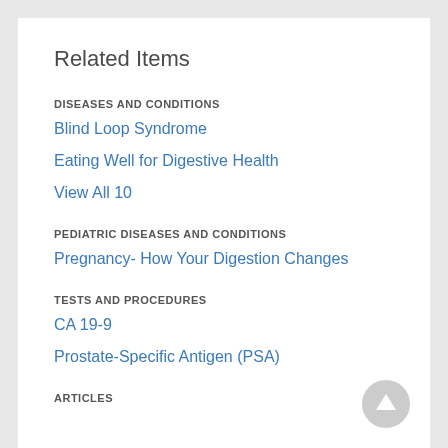Related Items
DISEASES AND CONDITIONS
Blind Loop Syndrome
Eating Well for Digestive Health
View All 10
PEDIATRIC DISEASES AND CONDITIONS
Pregnancy- How Your Digestion Changes
TESTS AND PROCEDURES
CA 19-9
Prostate-Specific Antigen (PSA)
ARTICLES